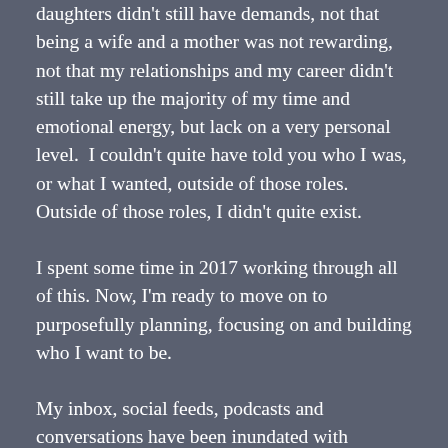daughters didn't still have demands, not that being a wife and a mother was not rewarding, not that my relationships and my career didn't still take up the majority of my time and emotional energy, but lack on a very personal level.  I couldn't quite have told you who I was, or what I wanted, outside of those roles.  Outside of those roles, I didn't quite exist.
I spent some time in 2017 working through all of this. Now, I'm ready to move on to purposefully planning, focusing on and building who I want to be.
My inbox, social feeds, podcasts and conversations have been inundated with discussions about the New Year. Through the